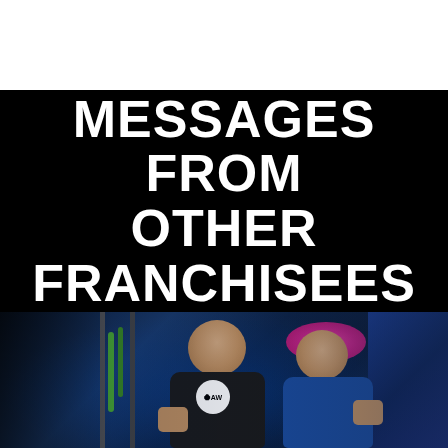MESSAGES FROM OTHER FRANCHISEES
[Figure (photo): Two fitness franchise owners posing in a gym with blue ambient lighting, gym equipment in background. Man on left wearing black shirt with circular logo, woman on right with pink hair wearing blue shirt, both flexing/fist bump pose.]